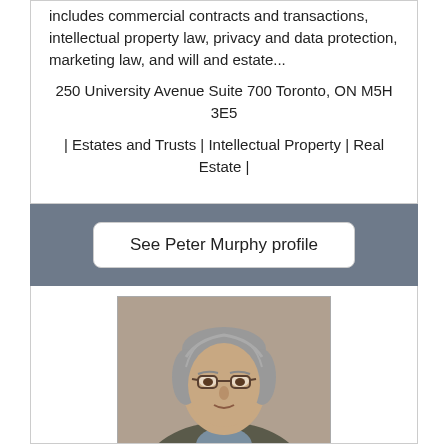includes commercial contracts and transactions, intellectual property law, privacy and data protection, marketing law, and will and estate...
250 University Avenue Suite 700 Toronto, ON M5H 3E5
| Estates and Trusts | Intellectual Property | Real Estate |
See Peter Murphy profile
[Figure (photo): Professional headshot of Peter Murphy, a middle-aged man with gray hair and glasses, wearing a suit jacket]